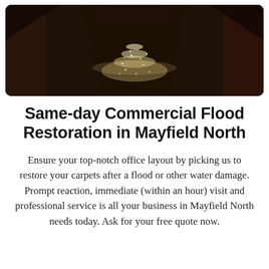[Figure (photo): A dark photograph of a flooded commercial interior hallway with wet, reflective tile floor showing water pooling and light reflections. Brown/dark wood tones on the sides with a bright glimmering water surface in the center.]
Same-day Commercial Flood Restoration in Mayfield North
Ensure your top-notch office layout by picking us to restore your carpets after a flood or other water damage. Prompt reaction, immediate (within an hour) visit and professional service is all your business in Mayfield North needs today. Ask for your free quote now.